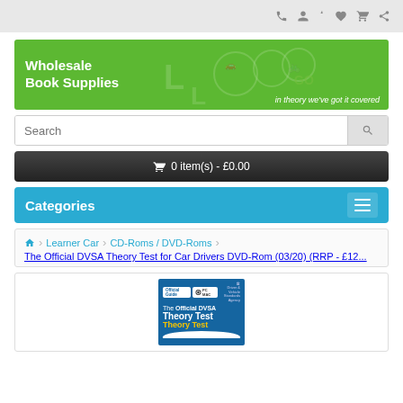Top navigation bar with icons: phone, user, heart, cart, share
[Figure (logo): Wholesale Book Supplies banner with green background, driving theory icons, text: 'Wholesale Book Supplies - in theory we've got it covered']
Search
🛒 0 item(s) - £0.00
Categories
🏠 Learner Car › CD-Roms / DVD-Roms › The Official DVSA Theory Test for Car Drivers DVD-Rom (03/20) (RRP - £12...
[Figure (photo): Product image: The Official DVSA Theory Test for Car Drivers DVD-Rom book cover, blue background with white and yellow text]